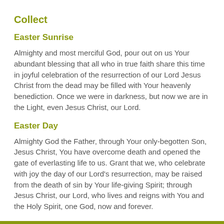Collect
Easter Sunrise
Almighty and most merciful God, pour out on us Your abundant blessing that all who in true faith share this time in joyful celebration of the resurrection of our Lord Jesus Christ from the dead may be filled with Your heavenly benediction. Once we were in darkness, but now we are in the Light, even Jesus Christ, our Lord.
Easter Day
Almighty God the Father, through Your only-begotten Son, Jesus Christ, You have overcome death and opened the gate of everlasting life to us. Grant that we, who celebrate with joy the day of our Lord's resurrection, may be raised from the death of sin by Your life-giving Spirit; through Jesus Christ, our Lord, who lives and reigns with You and the Holy Spirit, one God, now and forever.